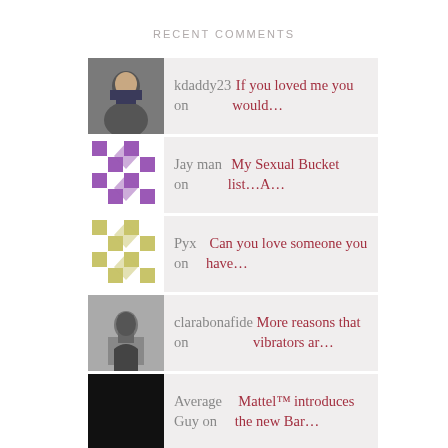RECENT COMMENTS
kdaddy23 on If you loved me you would...
Jay man on My Sexual Bucket list...A...
Pyx on Can you love someone you have...
clarabonafide on More reasons that vibrators ar...
Average Guy on Mattel™ introduces the new Bar...
RECENT POSTS